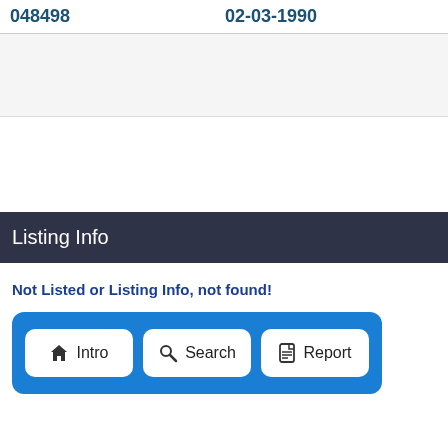| ID | Date |
| --- | --- |
| 048498 | 02-03-1990 |
Listing Info
Not Listed or Listing Info, not found!
Intro | Search | Report